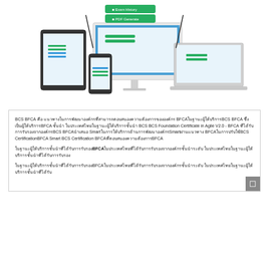[Figure (screenshot): Screenshot showing a responsive website displayed across multiple devices: a desktop monitor in the center, a laptop on the right, a tablet and smartphone on the left. The website appears to be an exam or certification platform with green buttons visible. Two green buttons labeled 'Exam History' and 'PDF Generate' appear at the top center.]
BCS BFCA คือ แนวทางในการพัฒนาองค์กรที่สามารถตอบสนองความต้องการขององค์กรBFCAในฐานะผู้ให้บริการBCS BFCA ซึ่งเป็นผู้ให้บริการBFCA ชั้นนำในประเทศไทยในฐานะผู้ให้บริการชั้นนำ BCS BCS Foundation Certificate in Agile V2.0 - BFCA ที่ได้รับการรับรองจากองค์กรBCS BFCAนำเสนอSmartในการให้บริการด้านการพัฒนาองค์กรSmartผ่านแนวทาง BFCAในการปรับใช้BCS CertificationBFCA Smart BCS Certification BFCAที่ตอบสนองความต้องการBFCA
ในฐานะผู้ให้บริการชั้นนำที่ได้รับการรับรอง BFCA ในประเทศไทยที่ได้รับการรับรองจากองค์กรชั้นนำระดับ
ในฐานะผู้ให้บริการชั้นนำที่ได้รับการรับรอง BFCA ในประเทศไทยที่ได้รับการรับรองจากองค์กรชั้นนำระดับ